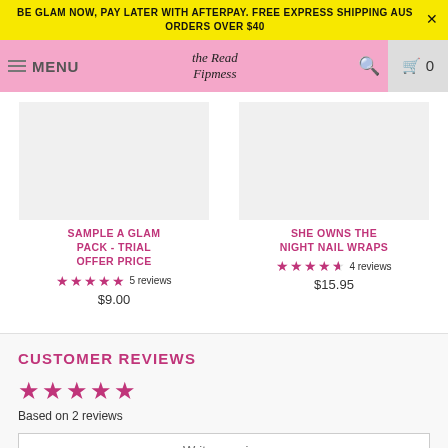BE GLAM NOW, PAY LATER WITH AFTERPAY. FREE EXPRESS SHIPPING AUS ORDERS OVER $40
[Figure (screenshot): Navigation bar with hamburger menu, MENU text, brand logo script text, search icon, and cart icon showing 0]
[Figure (photo): Product image placeholder for SAMPLE A GLAM PACK - TRIAL OFFER PRICE]
SAMPLE A GLAM PACK - TRIAL OFFER PRICE
5 reviews $9.00
[Figure (photo): Product image placeholder for SHE OWNS THE NIGHT NAIL WRAPS]
SHE OWNS THE NIGHT NAIL WRAPS
4 reviews $15.95
CUSTOMER REVIEWS
Based on 2 reviews
Write a review